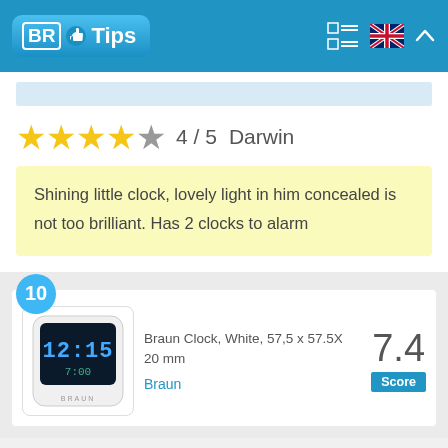BR Tips
4 / 5  Darwin
Shining little clock, lovely light in him concealed is not too brilliant. Has 2 clocks to alarm
10  Braun Clock, White, 57,5 x 57.5X 20 mm  7.4 Score  Braun